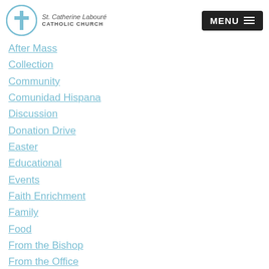[Figure (logo): St. Catherine Laboure Catholic Church logo with cross icon and church name text]
After Mass
Collection
Community
Comunidad Hispana
Discussion
Donation Drive
Easter
Educational
Events
Faith Enrichment
Family
Food
From the Bishop
From the Office
From the Pastor
Fundraiser
Funeral